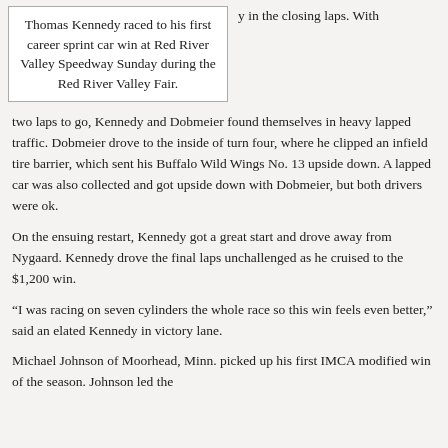Thomas Kennedy raced to his first career sprint car win at Red River Valley Speedway Sunday during the Red River Valley Fair.
y in the closing laps. With two laps to go, Kennedy and Dobmeier found themselves in heavy lapped traffic. Dobmeier drove to the inside of turn four, where he clipped an infield tire barrier, which sent his Buffalo Wild Wings No. 13 upside down. A lapped car was also collected and got upside down with Dobmeier, but both drivers were ok.
On the ensuing restart, Kennedy got a great start and drove away from Nygaard. Kennedy drove the final laps unchallenged as he cruised to the $1,200 win.
“I was racing on seven cylinders the whole race so this win feels even better,” said an elated Kennedy in victory lane.
Michael Johnson of Moorhead, Minn. picked up his first IMCA modified win of the season. Johnson led the